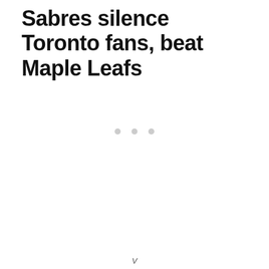Sabres silence Toronto fans, beat Maple Leafs
[Figure (other): Loading spinner with three light gray dots indicating content is loading]
V